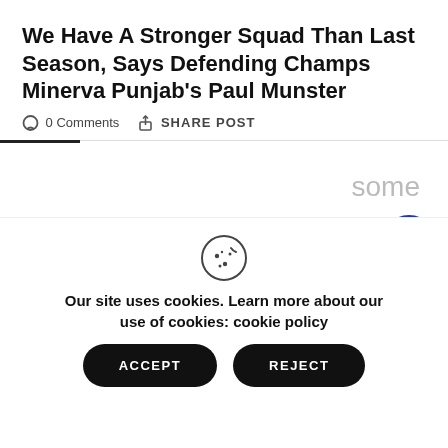We Have A Stronger Squad Than Last Season, Says Defending Champs Minerva Punjab's Paul Munster
0 Comments   SHARE POST
some more – this time
Our site uses cookies. Learn more about our use of cookies: cookie policy